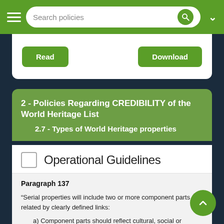Search policies
Read   Download
2 - Policies Regarding CREDIBILITY of the World Heritage List
2.7 - Types of World Heritage properties
Operational Guidelines
Paragraph 137
“Serial properties will include two or more component parts related by clearly defined links:
a) Component parts should reflect cultural, social or functional links over time that provide, where relevant, landscape, ecological, evolutionary or habitat